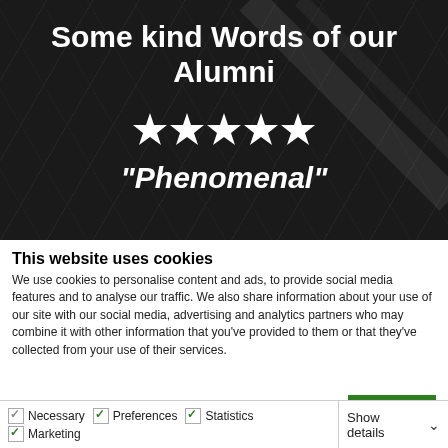Some kind Words of our Alumni
[Figure (illustration): Five white stars on dark hexagonal background]
"Phenomenal"
This website uses cookies
We use cookies to personalise content and ads, to provide social media features and to analyse our traffic. We also share information about your use of our site with our social media, advertising and analytics partners who may combine it with other information that you've provided to them or that they've collected from your use of their services.
OK
Necessary   Preferences   Statistics   Marketing   Show details